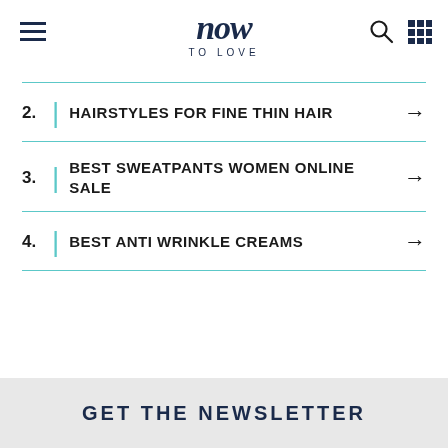now TO LOVE
2. HAIRSTYLES FOR FINE THIN HAIR
3. BEST SWEATPANTS WOMEN ONLINE SALE
4. BEST ANTI WRINKLE CREAMS
Ad | Local
GET THE NEWSLETTER